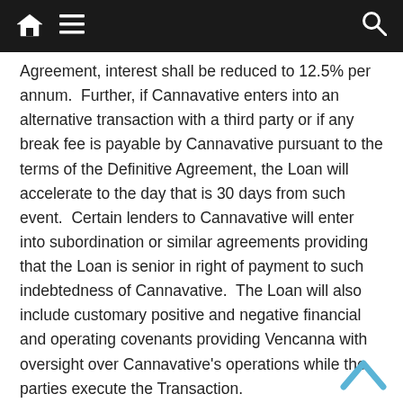[Home icon] [Menu icon] [Search icon]
Agreement, interest shall be reduced to 12.5% per annum.  Further, if Cannavative enters into an alternative transaction with a third party or if any break fee is payable by Cannavative pursuant to the terms of the Definitive Agreement, the Loan will accelerate to the day that is 30 days from such event.  Certain lenders to Cannavative will enter into subordination or similar agreements providing that the Loan is senior in right of payment to such indebtedness of Cannavative.  The Loan will also include customary positive and negative financial and operating covenants providing Vencanna with oversight over Cannavative's operations while the parties execute the Transaction.
About Cannavative
Cannavative is a leading premium cannabis brand in the